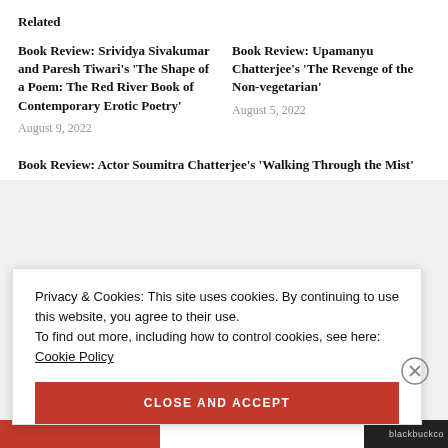Related
Book Review: Srividya Sivakumar and Paresh Tiwari’s ‘The Shape of a Poem: The Red River Book of Contemporary Erotic Poetry’
August 9, 2022
Book Review: Upamanyu Chatterjee’s ‘The Revenge of the Non-vegetarian’
August 5, 2022
Book Review: Actor Soumitra Chatterjee’s ‘Walking Through the Mist’
Privacy & Cookies: This site uses cookies. By continuing to use this website, you agree to their use.
To find out more, including how to control cookies, see here:
Cookie Policy
CLOSE AND ACCEPT